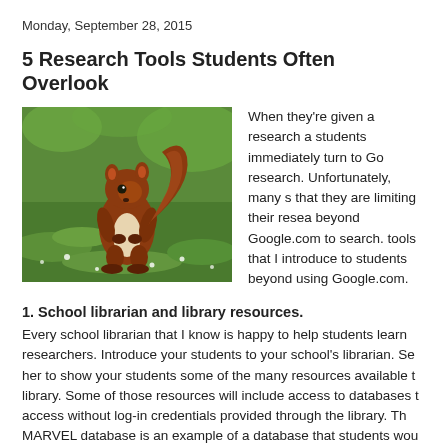Monday, September 28, 2015
5 Research Tools Students Often Overlook
[Figure (photo): A red squirrel sitting upright on green grass with small white flowers, holding its paws together, photographed outdoors.]
When they're given a research a students immediately turn to Go research. Unfortunately, many s that they are limiting their resea beyond Google.com to search. tools that I introduce to students beyond using Google.com.
1. School librarian and library resources.
Every school librarian that I know is happy to help students learn researchers. Introduce your students to your school's librarian. Se her to show your students some of the many resources available t library. Some of those resources will include access to databases t access without log-in credentials provided through the library. Th MARVEL database is an example of a database that students wou without the guidance of school librarian.